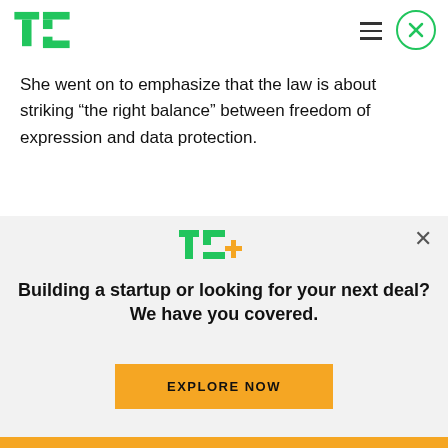TechCrunch logo and navigation
She went on to emphasize that the law is about striking “the right balance” between freedom of expression and data protection.
“It’s not about protecting one at the expense of the other but striking the right balance in order to protect both. The European Court made it clear that two rights do not make a wrong and has given clear
[Figure (logo): TechCrunch TC+ logo in green and yellow]
Building a startup or looking for your next deal? We have you covered.
EXPLORE NOW